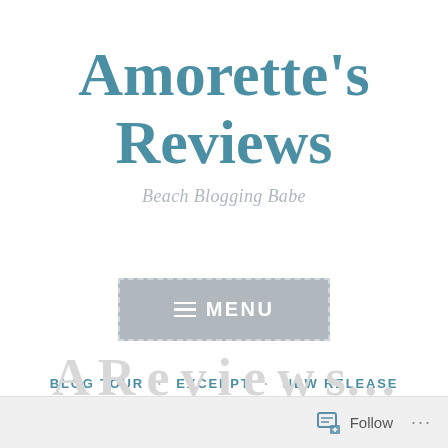Amorette's Reviews
Beach Blogging Babe
[Figure (other): Menu button with hamburger icon and dashed border on grey background]
BLOG TOUR · EXCERPT · NEW RELEASE
Follow ...